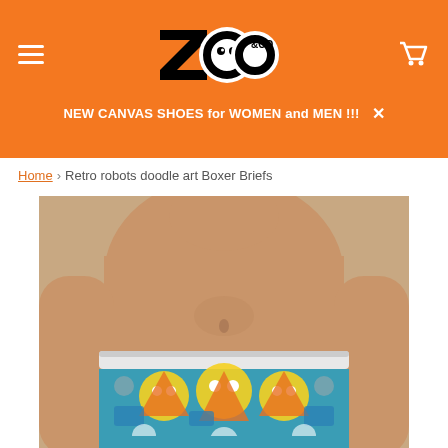[Figure (logo): Zoo & Co logo in black and white on orange background]
NEW CANVAS SHOES for WOMEN and MEN !!!
Home › Retro robots doodle art Boxer Briefs
[Figure (photo): Male model torso wearing colorful retro robots doodle art boxer briefs with blue, yellow, and orange pattern]